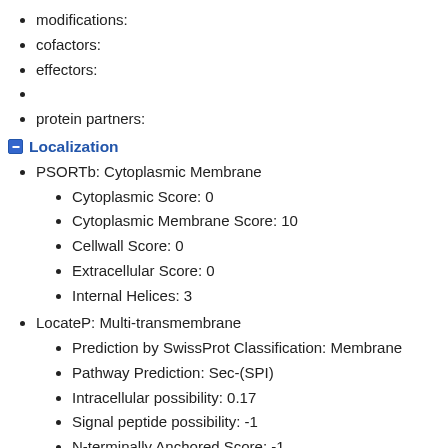modifications:
cofactors:
effectors:
protein partners:
Localization
PSORTb: Cytoplasmic Membrane
Cytoplasmic Score: 0
Cytoplasmic Membrane Score: 10
Cellwall Score: 0
Extracellular Score: 0
Internal Helices: 3
LocateP: Multi-transmembrane
Prediction by SwissProt Classification: Membrane
Pathway Prediction: Sec-(SPI)
Intracellular possibility: 0.17
Signal peptide possibility: -1
N-terminally Anchored Score: -1
Predicted Cleavage Site: No CleavageSite
SignalP: no predicted signal peptide
SP(Sec/SPI): 0.040897
TAT(Tat/SPI): 0.000516